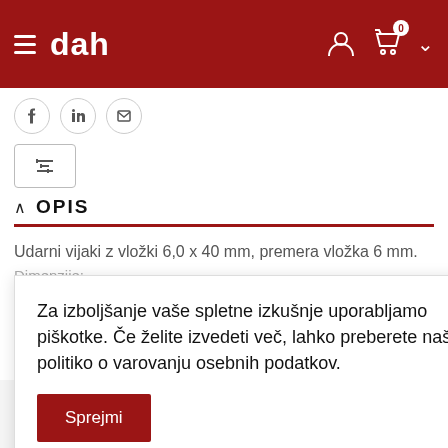dah
[Figure (screenshot): Social media icons: Facebook, LinkedIn, email]
[Figure (other): Filter/sliders icon button]
OPIS
Udarni vijaki z vložki 6,0 x 40 mm, premera vložka 6 mm.
Dimenzije:
Za izboljšanje vaše spletne izkušnje uporabljamo piškotke. Če želite izvedeti več, lahko preberete našo politiko o varovanju osebnih podatkov.
Sprejmi